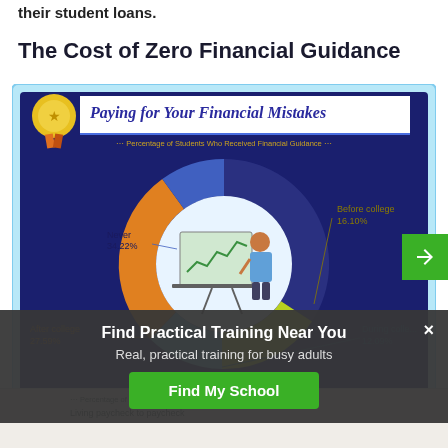their student loans.
The Cost of Zero Financial Guidance
[Figure (donut-chart): Paying for Your Financial Mistakes]
Find Practical Training Near You
Real, practical training for busy adults
Find My School
Percentage of Colle... Financial Mistakes
Living paycheck to paycheck